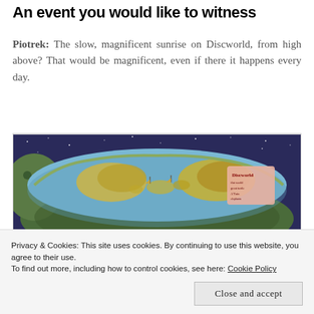An event you would like to witness
Piotrek: The slow, magnificent sunrise on Discworld, from high above? That would be magnificent, even if there it happens every day.
[Figure (illustration): A colorful illustration of the Discworld — a flat disc-shaped world carried on the back of a giant turtle, viewed from above and to the side. The disc shows a fantasy world map with continents, oceans, ships, and the 'Discworld' label visible on the right side.]
Privacy & Cookies: This site uses cookies. By continuing to use this website, you agree to their use.
To find out more, including how to control cookies, see here: Cookie Policy
Close and accept